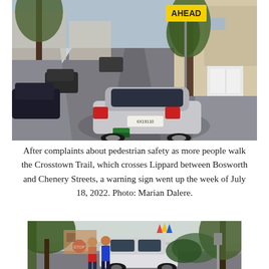[Figure (photo): Street scene showing residential area on a hill with parked cars including a silver sedan in the foreground. A yellow 'AHEAD' warning sign is visible on a pole on the right side. Trees line the street and houses are visible in the background.]
After complaints about pedestrian safety as more people walk the Crosstown Trail, which crosses Lippard between Bosworth and Chenery Streets, a warning sign went up the week of July 18, 2022. Photo: Marian Dalere.
[Figure (photo): Street-level view showing two pedestrians crossing or standing near a street intersection with trees on both sides. A car is visible near them. A stop sign is partially visible on the left.]